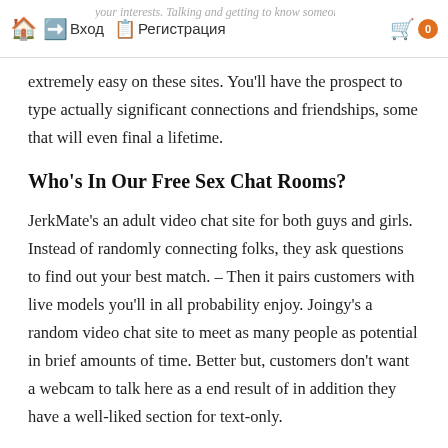Вход  Регистрация  0
extremely easy on these sites. You'll have the prospect to type actually significant connections and friendships, some that will even final a lifetime.
Who's In Our Free Sex Chat Rooms?
JerkMate's an adult video chat site for both guys and girls. Instead of randomly connecting folks, they ask questions to find out your best match. – Then it pairs customers with live models you'll in all probability enjoy. Joingy's a random video chat site to meet as many people as potential in brief amounts of time. Better but, customers don't want a webcam to talk here as a end result of in addition they have a well-liked section for text-only.